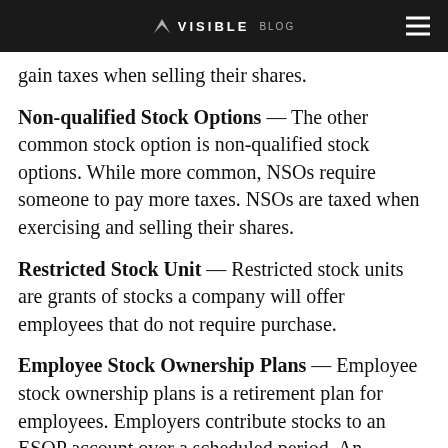VISIBLE BLOG
gain taxes when selling their shares.
Non-qualified Stock Options — The other common stock option is non-qualified stock options. While more common, NSOs require someone to pay more taxes. NSOs are taxed when exercising and selling their shares.
Restricted Stock Unit — Restricted stock units are grants of stocks a company will offer employees that do not require purchase.
Employee Stock Ownership Plans — Employee stock ownership plans is a retirement plan for employees. Employers contribute stocks to an ESOP account over a scheduled period. An